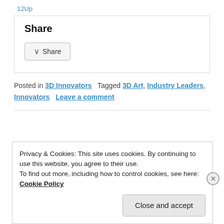12Up
Share
Share (button)
Posted in 3D Innovators   Tagged 3D Art, Industry Leaders, Innovators   Leave a comment
Privacy & Cookies: This site uses cookies. By continuing to use this website, you agree to their use.
To find out more, including how to control cookies, see here:
Cookie Policy
Close and accept